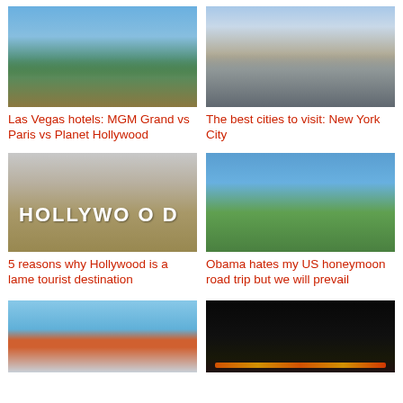[Figure (photo): Las Vegas Strip with colorful hotel signs and blue sky]
Las Vegas hotels: MGM Grand vs Paris vs Planet Hollywood
[Figure (photo): Aerial view of New York City with Central Park and skyscrapers]
The best cities to visit: New York City
[Figure (photo): Hollywood sign on hillside]
5 reasons why Hollywood is a lame tourist destination
[Figure (photo): Person standing on log with scenic lake and mountains behind]
Obama hates my US honeymoon road trip but we will prevail
[Figure (photo): Golden Gate Bridge in San Francisco with blue sky]
[Figure (photo): Night scene with lights]